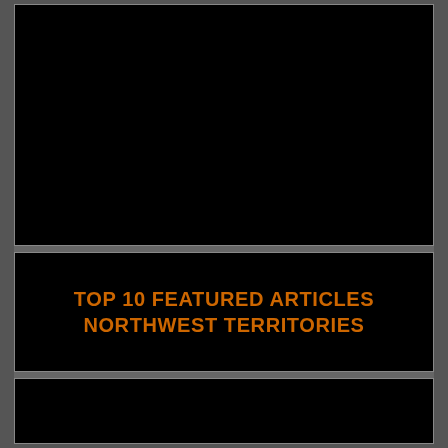[Figure (other): Black rectangular panel at top of page, appears to be a placeholder or image area]
TOP 10 FEATURED ARTICLES NORTHWEST TERRITORIES
[Figure (other): Black rectangular panel at bottom of page, appears to be a placeholder or content area]